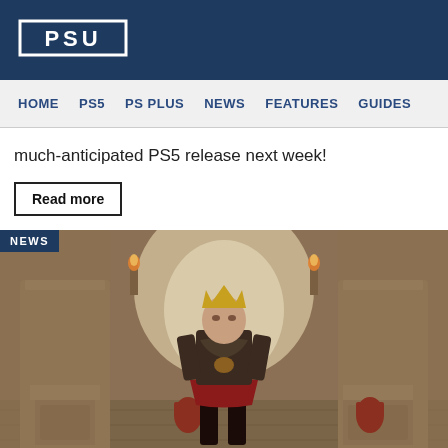PSU
HOME  PS5  PS PLUS  NEWS  FEATURES  GUIDES
much-anticipated PS5 release next week!
Read more
[Figure (photo): Screenshot from a video game showing a female warrior character in ornate dark armor and crown standing in an ancient stone temple or palace with torches and pillars]